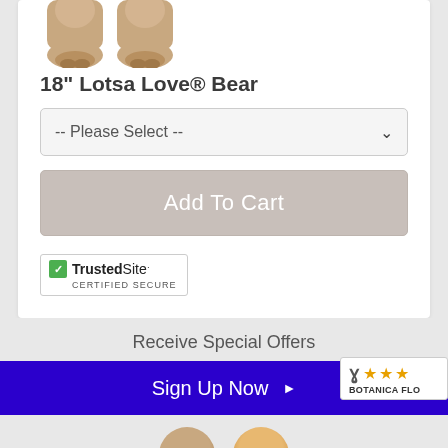[Figure (photo): Partial bottom view of a teddy bear (18 inch Lotsa Love Bear) showing legs and feet]
18" Lotsa Love® Bear
-- Please Select --
Add To Cart
[Figure (logo): TrustedSite Certified Secure badge with green checkmark]
Receive Special Offers
Sign Up Now
[Figure (logo): Botanica Flowers logo with Y symbol and three orange stars, text BOTANICA FLO...]